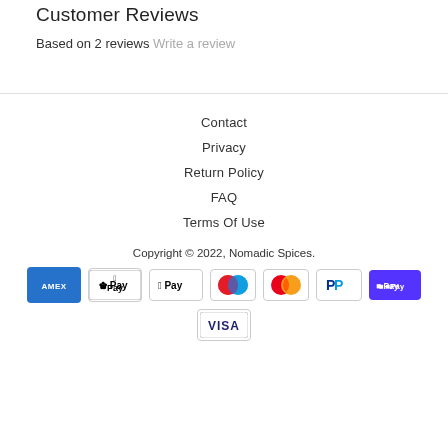Customer Reviews
Based on 2 reviews Write a review
Contact
Privacy
Return Policy
FAQ
Terms Of Use
Copyright © 2022, Nomadic Spices.
[Figure (other): Payment method icons: American Express, Apple Pay, Google Pay, Maestro, Mastercard, PayPal, Shop Pay, Visa]